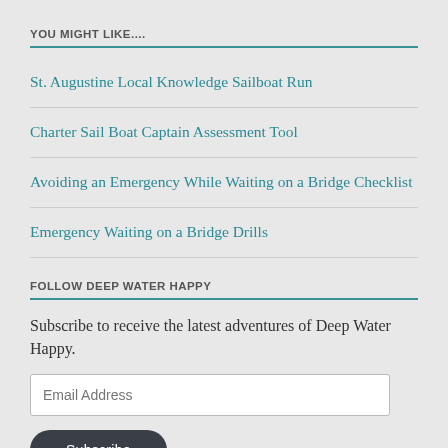YOU MIGHT LIKE....
St. Augustine Local Knowledge Sailboat Run
Charter Sail Boat Captain Assessment Tool
Avoiding an Emergency While Waiting on a Bridge Checklist
Emergency Waiting on a Bridge Drills
FOLLOW DEEP WATER HAPPY
Subscribe to receive the latest adventures of Deep Water Happy.
Email Address